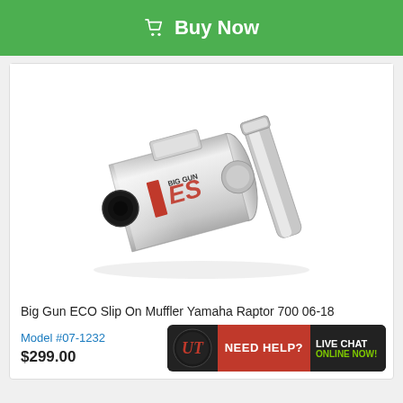[Figure (other): Green Buy Now button with shopping cart icon]
[Figure (photo): Product photo of Big Gun ECO Slip On Muffler for Yamaha Raptor 700 06-18, showing a polished chrome/stainless steel exhaust slip-on muffler with black end cap and red Big Gun ES logo]
Big Gun ECO Slip On Muffler Yamaha Raptor 700 06-18
Model #07-1232
$299.00
[Figure (logo): UTV/UT retailer logo badge with red background showing 'NEED HELP?' text and 'LIVE CHAT ONLINE NOW!' text in green]